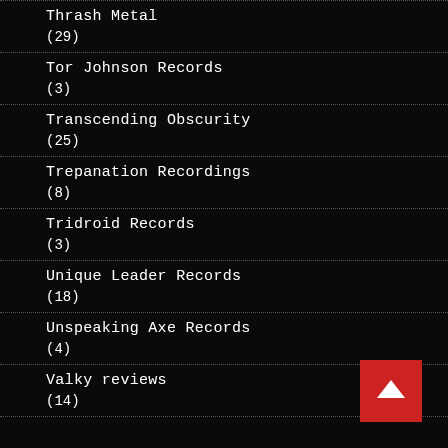Thrash Metal
(29)
Tor Johnson Records
(3)
Transcending Obscurity
(25)
Trepanation Recordings
(8)
Tridroid Records
(3)
Unique Leader Records
(18)
Unspeaking Axe Records
(4)
Valky reviews
(14)